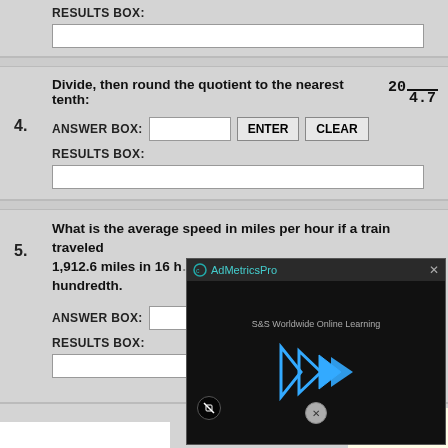RESULTS BOX:
Divide, then round the quotient to the nearest tenth: 20)4.7
ANSWER BOX: [input] ENTER CLEAR
4.
RESULTS BOX:
What is the average speed in miles per hour if a train traveled 1,912.6 miles in 16 h... hundredth.
5.
ANSWER BOX: [input]
RESULTS BOX:
[Figure (screenshot): AdMetricsPro video ad overlay showing S&S Worldwide Online Learning with play button and blue arrow icons]